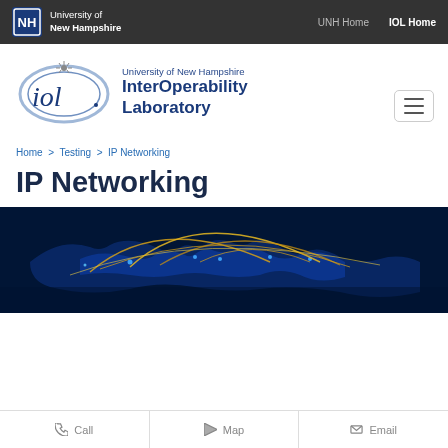University of New Hampshire | UNH Home | IOL Home
[Figure (logo): UNH IOL logo with 'iol' text in blue oval and University of New Hampshire InterOperability Laboratory text]
Home > Testing > IP Networking
IP Networking
[Figure (photo): World map with glowing network connection arcs on dark blue background]
Call | Map | Email